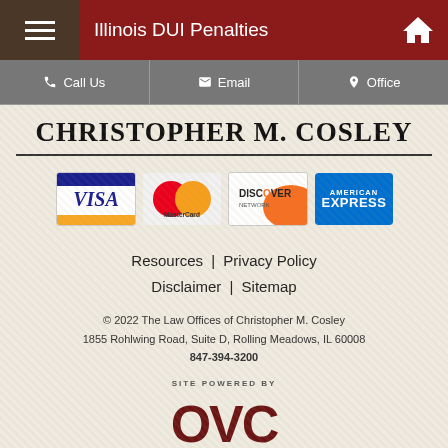Illinois DUI Penalties
Call Us | Email | Office
CHRISTOPHER M. COSLEY
[Figure (logo): Payment method logos: Visa, MasterCard, Discover Network, American Express]
Resources | Privacy Policy
Disclaimer | Sitemap
© 2022 The Law Offices of Christopher M. Cosley
1855 Rohlwing Road, Suite D, Rolling Meadows, IL 60008
847-394-3200
[Figure (logo): OVC Lawyer Marketing logo — SITE POWERED BY OVC LAWYER MARKETING]